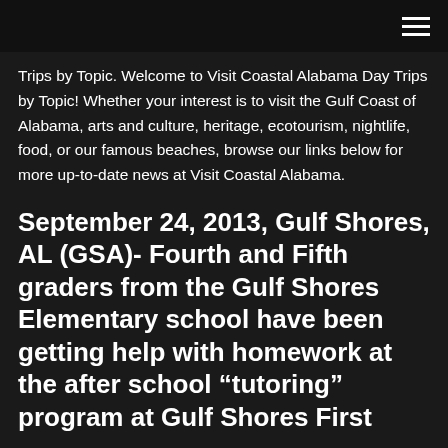Trips by Topic. Welcome to Visit Coastal Alabama Day Trips by Topic! Whether your interest is to visit the Gulf Coast of Alabama, arts and culture, heritage, ecotourism, nightlife, food, or our famous beaches, browse our links below for more up-to-date news at Visit Coastal Alabama.
September 24, 2013, Gulf Shores, AL (GSA)- Fourth and Fifth graders from the Gulf Shores Elementary school have been getting help with homework at the after school “tutoring” program at Gulf Shores First